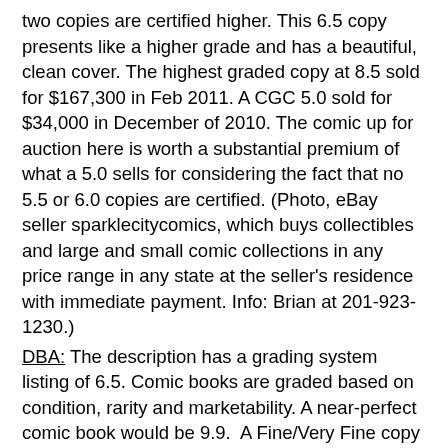two copies are certified higher. This 6.5 copy presents like a higher grade and has a beautiful, clean cover. The highest graded copy at 8.5 sold for $167,300 in Feb 2011. A CGC 5.0 sold for $34,000 in December of 2010. The comic up for auction here is worth a substantial premium of what a 5.0 sells for considering the fact that no 5.5 or 6.0 copies are certified. (Photo, eBay seller sparklecitycomics, which buys collectibles and large and small comic collections in any price range in any state at the seller's residence with immediate payment. Info: Brian at 201-923-1230.)
DBA: The description has a grading system listing of 6.5. Comic books are graded based on condition, rarity and marketability. A near-perfect comic book would be 9.9. A Fine/Very Fine copy would be rated 7.0 and could be a well-read copy with slight defects. A grade of 5.0 would be a complete book but would have some defects, like yellowing or scuffing. It would be a complete copy with no pages missing.